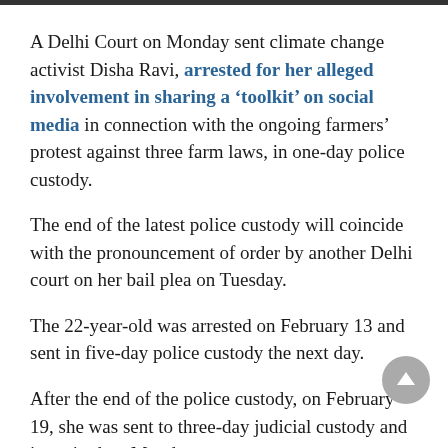A Delhi Court on Monday sent climate change activist Disha Ravi, arrested for her alleged involvement in sharing a ‘toolkit’ on social media in connection with the ongoing farmers’ protest against three farm laws, in one-day police custody.
The end of the latest police custody will coincide with the pronouncement of order by another Delhi court on her bail plea on Tuesday.
The 22-year-old was arrested on February 13 and sent in five-day police custody the next day.
After the end of the police custody, on February 19, she was sent to three-day judicial custody and it expired on Monday.